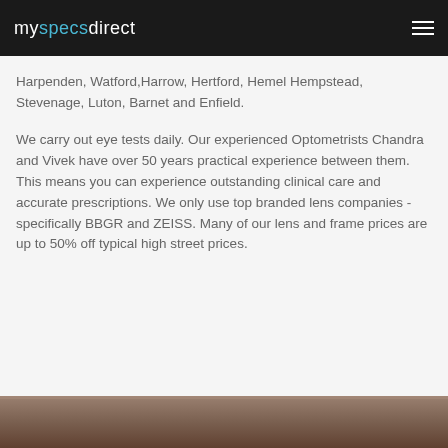myspecsdirect
Harpenden, Watford, Harrow, Hertford, Hemel Hempstead, Stevenage, Luton, Barnet and Enfield.
We carry out eye tests daily. Our experienced Optometrists Chandra and Vivek have over 50 years practical experience between them. This means you can experience outstanding clinical care and accurate prescriptions. We only use top branded lens companies - specifically BBGR and ZEISS. Many of our lens and frame prices are up to 50% off typical high street prices.
[Figure (photo): Partial view of a photo at the bottom of the page, appearing to show people or an indoor scene with warm brown tones.]